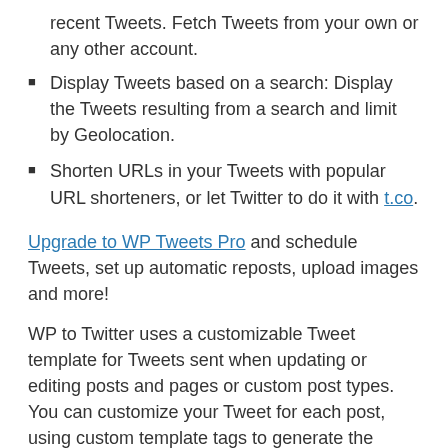recent Tweets. Fetch Tweets from your own or any other account.
Display Tweets based on a search: Display the Tweets resulting from a search and limit by Geolocation.
Shorten URLs in your Tweets with popular URL shorteners, or let Twitter to do it with t.co.
Upgrade to WP Tweets Pro and schedule Tweets, set up automatic reposts, upload images and more!
WP to Twitter uses a customizable Tweet template for Tweets sent when updating or editing posts and pages or custom post types. You can customize your Tweet for each post, using custom template tags to generate the Tweet.
FREE FEATURES